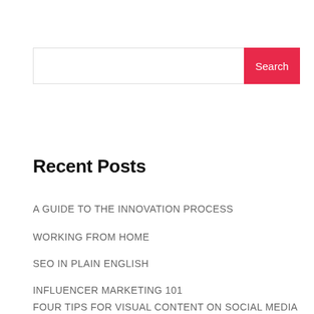[Figure (other): Search input field with red Search button]
Recent Posts
A GUIDE TO THE INNOVATION PROCESS
WORKING FROM HOME
SEO IN PLAIN ENGLISH
INFLUENCER MARKETING 101
FOUR TIPS FOR VISUAL CONTENT ON SOCIAL MEDIA